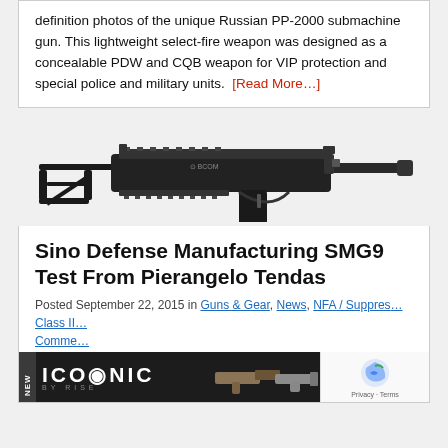definition photos of the unique Russian PP-2000 submachine gun. This lightweight select-fire weapon was designed as a concealable PDW and CQB weapon for VIP protection and special police and military units. [Read More...]
[Figure (photo): Photo of a black Sino Defense Manufacturing SMG9 submachine gun on a white/grey background, viewed from the left side.]
Sino Defense Manufacturing SMG9 Test From Pierangelo Tendas
Posted September 22, 2015 in Guns & Gear, News, NFA / Suppres... Class II... Comments...
[Figure (logo): ICONIC BY RISE banner advertisement with a NEW badge on the left and product silhouettes on the right, plus a reCAPTCHA widget in the bottom right corner.]